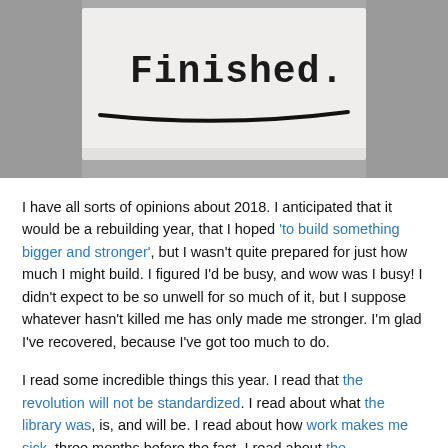[Figure (photo): A black and white photo of a hand-written sign on white paper reading 'Finished.' with a horizontal line drawn underneath, held against a rough textured background.]
I have all sorts of opinions about 2018. I anticipated that it would be a rebuilding year, that I hoped 'to build something bigger and stronger', but I wasn't quite prepared for just how much I might build. I figured I'd be busy, and wow was I busy! I didn't expect to be so unwell for so much of it, but I suppose whatever hasn't killed me has only made me stronger. I'm glad I've recovered, because I've got too much to do.
I read some incredible things this year. I read that the revolution will not be standardized. I read about what the library was, is, and will be. I read about how work makes me sick, three months before the fact. I read about the